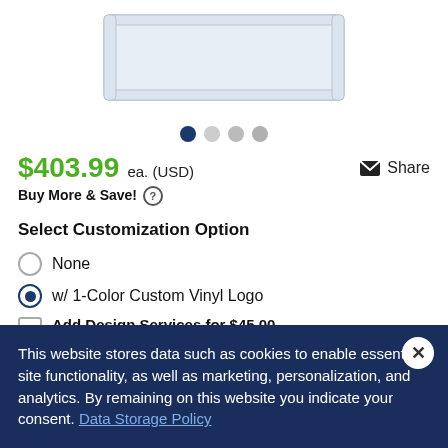[Figure (photo): Product photo of a clear acrylic tray/organizer, partially visible at top]
• (navigation dots) one active, three inactive
$403.99 ea. (USD)
Share
Buy More & Save! ℹ
Select Customization Option
None
w/ 1-Color Custom Vinyl Logo
Add Design Services for $45.00
Includes 1 hour of design by our in-house designers.
This website stores data such as cookies to enable essential site functionality, as well as marketing, personalization, and analytics. By remaining on this website you indicate your consent. Data Storage Policy